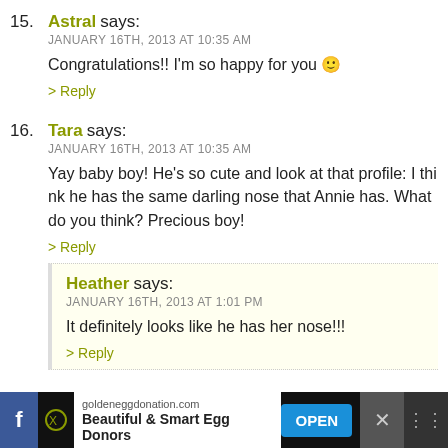15. Astral says: JANUARY 16TH, 2013 AT 10:35 AM — Congratulations!! I'm so happy for you :) > Reply
16. Tara says: JANUARY 16TH, 2013 AT 10:35 AM — Yay baby boy! He's so cute and look at that profile: I think he has the same darling nose that Annie has. What do you think? Precious boy! > Reply
Heather says: JANUARY 16TH, 2013 AT 1:01 PM — It definitely looks like he has her nose!!! > Reply
goldeneggdonation.com Beautiful & Smart Egg Donors OPEN